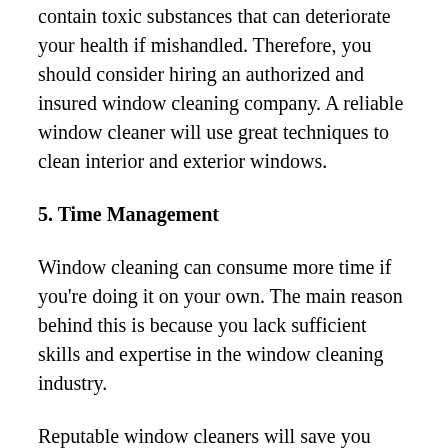contain toxic substances that can deteriorate your health if mishandled. Therefore, you should consider hiring an authorized and insured window cleaning company. A reliable window cleaner will use great techniques to clean interior and exterior windows.
5. Time Management
Window cleaning can consume more time if you're doing it on your own. The main reason behind this is because you lack sufficient skills and expertise in the window cleaning industry.
Reputable window cleaners will save you time because they will provide better cleaning for